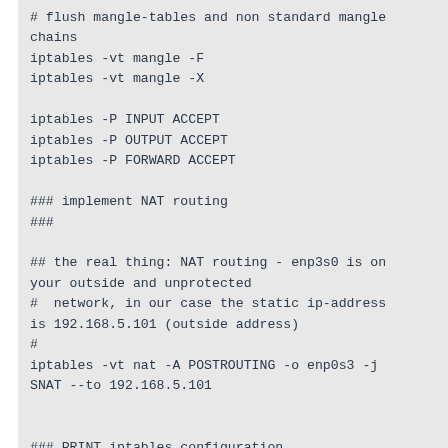# flush mangle-tables and non standard mangle chains
iptables -vt mangle -F
iptables -vt mangle -X

iptables -P INPUT ACCEPT
iptables -P OUTPUT ACCEPT
iptables -P FORWARD ACCEPT

### implement NAT routing
###

## the real thing: NAT routing - enp3s0 is on your outside and unprotected
#  network, in our case the static ip-address is 192.168.5.101 (outside address)
#
iptables -vt nat -A POSTROUTING -o enp0s3 -j SNAT --to 192.168.5.101


### PRINT iptables configuration